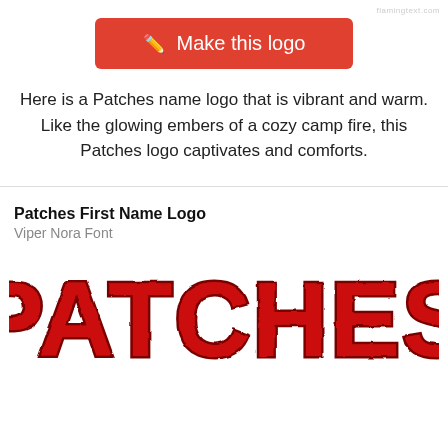flamingtext.com
[Figure (other): Red rounded rectangle button with pencil icon and text 'Make this logo']
Here is a Patches name logo that is vibrant and warm. Like the glowing embers of a cozy camp fire, this Patches logo captivates and comforts.
Patches First Name Logo
Viper Nora Font
[Figure (logo): Large distressed red block letter text reading PATCHES in a rugged varsity/vintage style with dark red outline and textured fill, partially cropped at bottom]